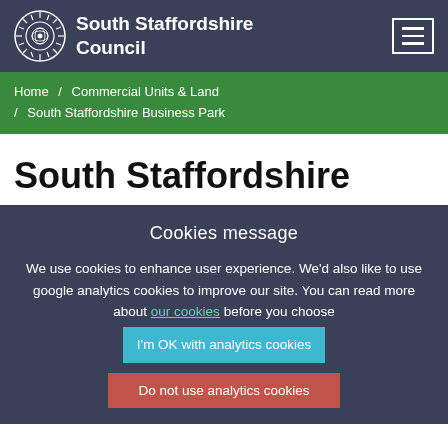South Staffordshire Council
Home / Commercial Units & Land / South Staffordshire Business Park
South Staffordshire
Cookies message
We use cookies to enhance user experience. We'd also like to use google analytics cookies to improve our site. You can read more about our cookies before you choose
I'm OK with analytics cookies
Do not use analytics cookies